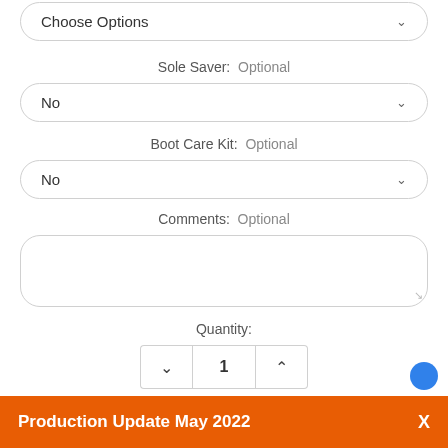[Figure (screenshot): A dropdown selector showing 'Choose Options' with a chevron arrow]
Sole Saver:  Optional
[Figure (screenshot): A dropdown selector showing 'No' with a chevron arrow for Sole Saver]
Boot Care Kit:  Optional
[Figure (screenshot): A dropdown selector showing 'No' with a chevron arrow for Boot Care Kit]
Comments:  Optional
[Figure (screenshot): A text area input box for comments]
Quantity:
[Figure (screenshot): Quantity stepper control showing down chevron, value 1, up chevron]
Production Update May 2022   X